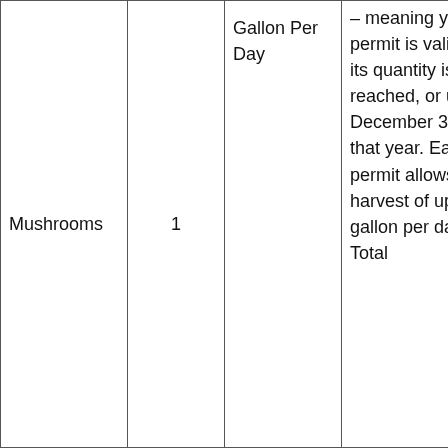| Mushrooms | 1 | Gallon Per Day | – meaning your permit is valid until its quantity is reached, or until December 31 of that year. Each permit allows harvest of up to 1 gallon per day. Total |